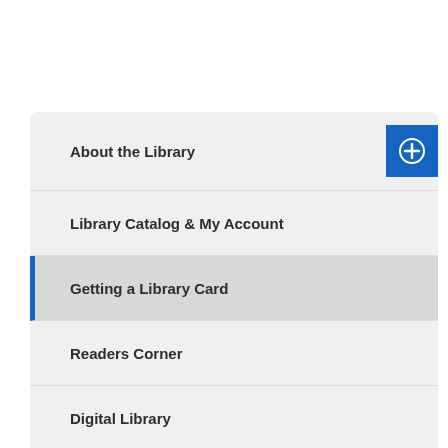About the Library
Library Catalog & My Account
Getting a Library Card
Readers Corner
Digital Library
MakerSpace
Classes & Events
Library Services